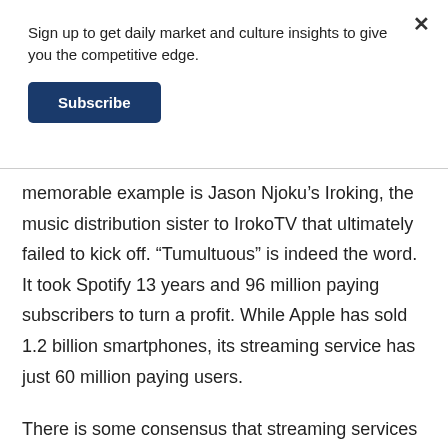Sign up to get daily market and culture insights to give you the competitive edge.
Subscribe
memorable example is Jason Njoku’s Iroking, the music distribution sister to IrokoTV that ultimately failed to kick off. “Tumultuous” is indeed the word. It took Spotify 13 years and 96 million paying subscribers to turn a profit. While Apple has sold 1.2 billion smartphones, its streaming service has just 60 million paying users.
There is some consensus that streaming services need about 100 million paying subscribers to scale. This is